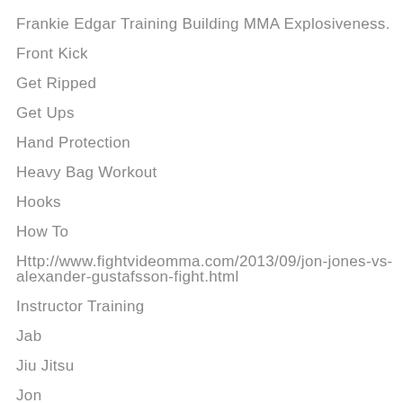Frankie Edgar Training Building MMA Explosiveness.
Front Kick
Get Ripped
Get Ups
Hand Protection
Heavy Bag Workout
Hooks
How To
Http://www.fightvideomma.com/2013/09/jon-jones-vs-alexander-gustafsson-fight.html
Instructor Training
Jab
Jiu Jitsu
Jon
Jumping Lunge
Kick
Kickboxing